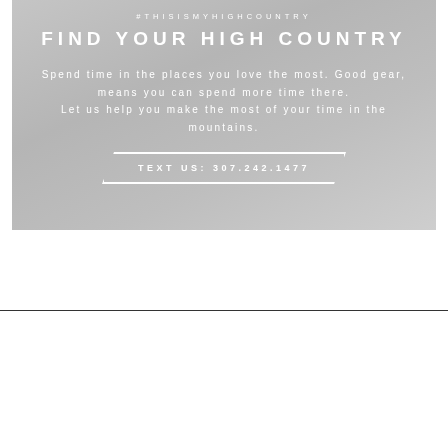[Figure (infographic): Promotional banner with gradient gray background containing hashtag, title, body text, and CTA button]
#THISISMYHIGHCOUNTRY
FIND YOUR HIGH COUNTRY
Spend time in the places you love the most. Good gear, means you can spend more time there. Let us help you make the most of your time in the mountains.
TEXT US: 307.242.1477